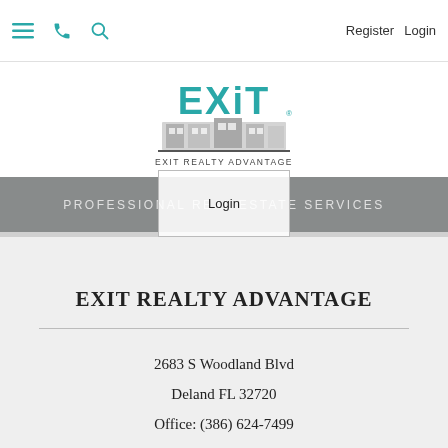≡  📞  🔍   Register  Login
[Figure (logo): EXIT Realty Advantage logo with teal EXIT text and building illustration]
PROFESSIONAL REAL ESTATE SERVICES
EXIT REALTY ADVANTAGE
2683 S Woodland Blvd
Deland FL 32720
Office: (386) 624-7499